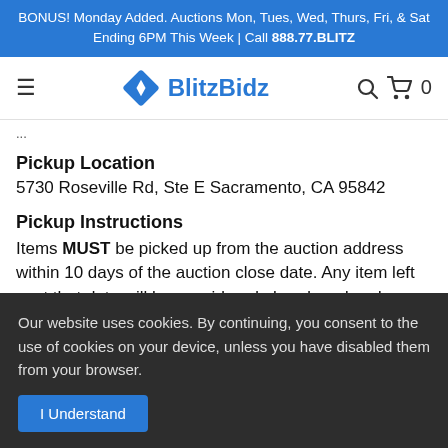BONUS! Monday Added. Auctions Mon, Tues, Wed, Thurs, Fri, & Sat Ending 6PM This Week | Call 888.77.BLITZ
[Figure (logo): BlitzBidz logo with blue diamond shape and text]
Pickup Location
5730 Roseville Rd, Ste E Sacramento, CA 95842
Pickup Instructions
Items MUST be picked up from the auction address within 10 days of the auction close date. Any item left past that date will be considered abandoned and any right to the item will be void. Any payments will NOT be refunded. If you will not be able to remove the item by the end of the 10 day period, please contact
Our website uses cookies. By continuing, you consent to the use of cookies on your device, unless you have disabled them from your browser.